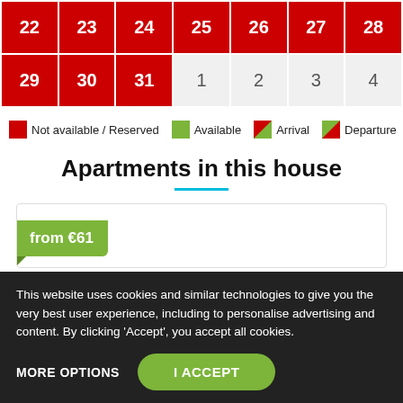| 22 | 23 | 24 | 25 | 26 | 27 | 28 |
| --- | --- | --- | --- | --- | --- | --- |
| 29 | 30 | 31 | 1 | 2 | 3 | 4 |
Not available / Reserved   Available   Arrival   Departure
Apartments in this house
from €61
This website uses cookies and similar technologies to give you the very best user experience, including to personalise advertising and content. By clicking 'Accept', you accept all cookies.
MORE OPTIONS   I ACCEPT